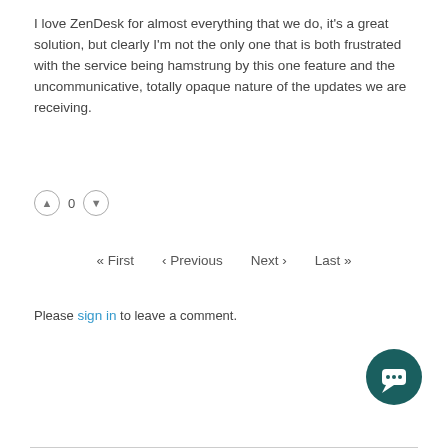I love ZenDesk for almost everything that we do, it's a great solution, but clearly I'm not the only one that is both frustrated with the service being hamstrung by this one feature and the uncommunicative, totally opaque nature of the updates we are receiving.
[Figure (infographic): Vote thumbs up icon, count 0, vote thumbs down icon]
« First ‹ Previous Next › Last »
Please sign in to leave a comment.
[Figure (illustration): Dark teal circular chat/message button icon in bottom right corner]